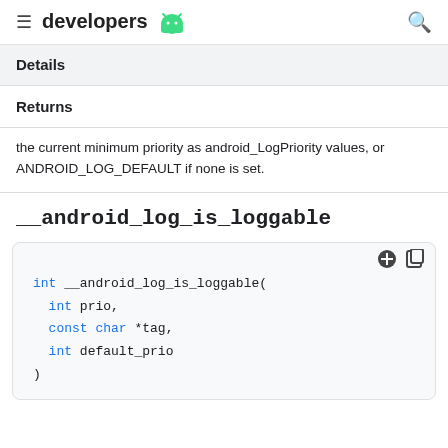developers
Details
Returns
the current minimum priority as android_LogPriority values, or ANDROID_LOG_DEFAULT if none is set.
__android_log_is_loggable
int __android_log_is_loggable(
  int prio,
  const char *tag,
  int default_prio
)